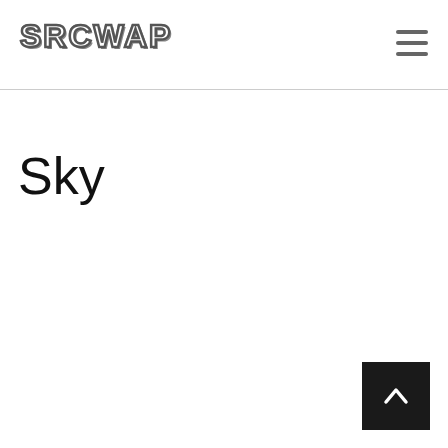SRCWAP
Sky
[Figure (other): Dark square button with white upward arrow, used as scroll-to-top button]